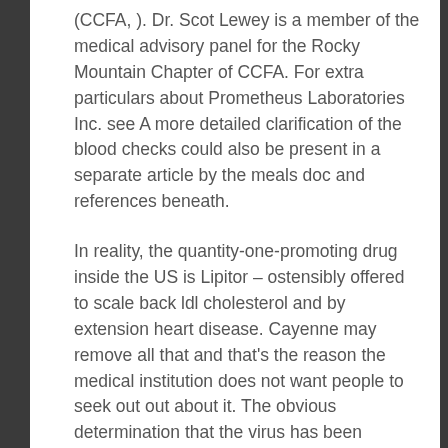(CCFA, ). Dr. Scot Lewey is a member of the medical advisory panel for the Rocky Mountain Chapter of CCFA. For extra particulars about Prometheus Laboratories Inc. see A more detailed clarification of the blood checks could also be present in a separate article by the meals doc and references beneath.
In reality, the quantity-one-promoting drug inside the US is Lipitor – ostensibly offered to scale back ldl cholesterol and by extension heart disease. Cayenne may remove all that and that's the reason the medical institution does not want people to seek out out about it. The obvious determination that the virus has been transmitted to others by folks with no apparent signs means that it will doubtless be very, very troublesome, if not inconceivable, to handle.